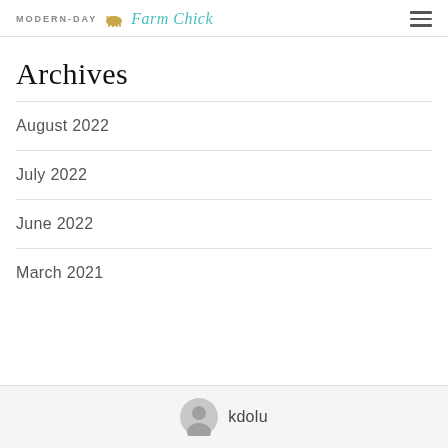MODERN-DAY Farm Chick
Archives
August 2022
July 2022
June 2022
March 2021
kdolu